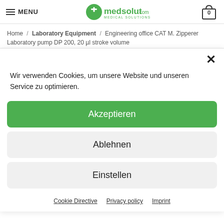MENU | medsolut.com MEDICAL SOLUTIONS | 0
Home / Laboratory Equipment / Engineering office CAT M. Zipperer Laboratory pump DP 200, 20 µl stroke volume
×
Wir verwenden Cookies, um unsere Website und unseren Service zu optimieren.
Akzeptieren
Ablehnen
Einstellen
Cookie Directive  Privacy policy  Imprint